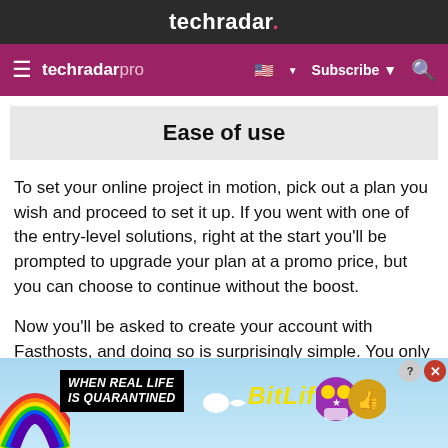techradar.
techradar pro  Subscribe
Ease of use
To set your online project in motion, pick out a plan you wish and proceed to set it up. If you went with one of the entry-level solutions, right at the start you'll be prompted to upgrade your plan at a promo price, but you can choose to continue without the boost.
Now you'll be asked to create your account with Fasthosts, and doing so is surprisingly simple. You only need to surrender your full name, email address
[Figure (screenshot): BitLife advertisement banner: rainbow on left, black text box with 'WHEN REAL LIFE IS QUARANTINED', sperm icon, yellow BitLife logo, cartoon characters on right. Close and question mark buttons in top right corner.]